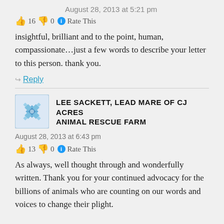August 28, 2013 at 5:21 pm
👍 16 👎 0 ℹ Rate This
insightful, brilliant and to the point, human, compassionate…just a few words to describe your letter to this person. thank you.
↪ Reply
[Figure (illustration): Avatar image for commenter Lee Sackett - decorative blue diamond/snowflake pattern]
LEE SACKETT, LEAD MARE OF CJ ACRES ANIMAL RESCUE FARM
August 28, 2013 at 6:43 pm
👍 13 👎 0 ℹ Rate This
As always, well thought through and wonderfully written. Thank you for your continued advocacy for the billions of animals who are counting on our words and voices to change their plight.